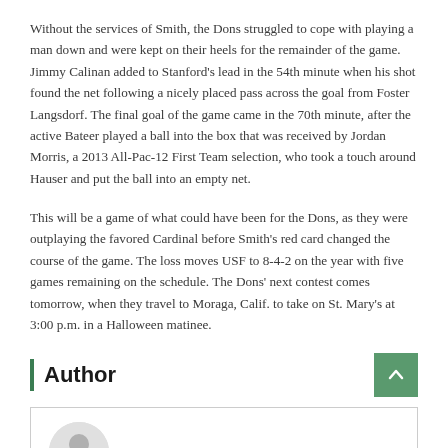Without the services of Smith, the Dons struggled to cope with playing a man down and were kept on their heels for the remainder of the game. Jimmy Calinan added to Stanford's lead in the 54th minute when his shot found the net following a nicely placed pass across the goal from Foster Langsdorf. The final goal of the game came in the 70th minute, after the active Bateer played a ball into the box that was received by Jordan Morris, a 2013 All-Pac-12 First Team selection, who took a touch around Hauser and put the ball into an empty net.
This will be a game of what could have been for the Dons, as they were outplaying the favored Cardinal before Smith's red card changed the course of the game. The loss moves USF to 8-4-2 on the year with five games remaining on the schedule. The Dons' next contest comes tomorrow, when they travel to Moraga, Calif. to take on St. Mary's at 3:00 p.m. in a Halloween matinee.
Author
[Figure (illustration): Author box with a circular grey avatar placeholder icon at the bottom of the page]